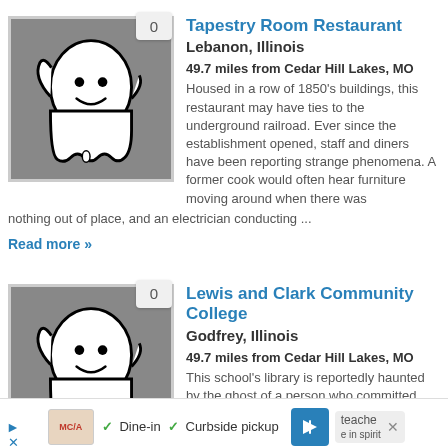[Figure (illustration): Ghost cartoon icon with badge showing 0, gray background, for Tapestry Room Restaurant]
Tapestry Room Restaurant
Lebanon, Illinois
49.7 miles from Cedar Hill Lakes, MO
Housed in a row of 1850's buildings, this restaurant may have ties to the underground railroad. Ever since the establishment opened, staff and diners have been reporting strange phenomena. A former cook would often hear furniture moving around when there was nothing out of place, and an electrician conducting ...
Read more »
[Figure (illustration): Ghost cartoon icon with badge showing 0, gray background, for Lewis and Clark Community College]
Lewis and Clark Community College
Godfrey, Illinois
49.7 miles from Cedar Hill Lakes, MO
This school's library is reportedly haunted by the ghost of a person who committed suicide...
Dine-in  Curbside pickup